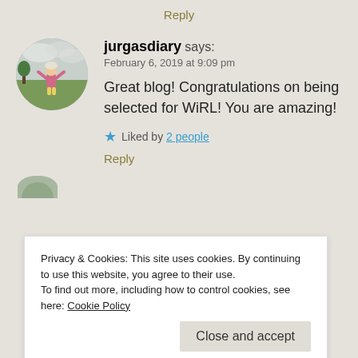Reply
jurgasdiary says:
February 6, 2019 at 9:09 pm

Great blog! Congratulations on being selected for WiRL! You are amazing!

★ Liked by 2 people

Reply
[Figure (photo): Circular avatar photo of a child standing in a green field under cloudy sky]
Privacy & Cookies: This site uses cookies. By continuing to use this website, you agree to their use.
To find out more, including how to control cookies, see here: Cookie Policy

Close and accept
Reply